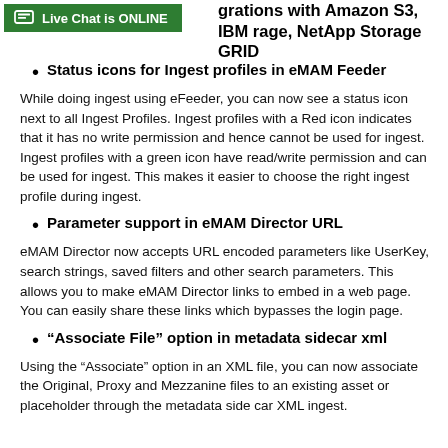[Figure (other): Green live chat widget bar with text 'Live Chat is ONLINE']
grations with Amazon S3, IBM rage, NetApp Storage GRID
Status icons for Ingest profiles in eMAM Feeder
While doing ingest using eFeeder, you can now see a status icon next to all Ingest Profiles. Ingest profiles with a Red icon indicates that it has no write permission and hence cannot be used for ingest.  Ingest profiles with a green icon have read/write permission and can be used for ingest. This makes it easier to choose the right ingest profile during ingest.
Parameter support in eMAM Director URL
eMAM Director now accepts URL encoded parameters like UserKey, search strings, saved filters and other search parameters. This allows you to make eMAM Director links to embed in a web page. You can easily share these links which bypasses the login page.
“Associate File” option in metadata sidecar xml
Using the “Associate” option in an XML file, you can now associate the Original, Proxy and Mezzanine files to an existing asset or placeholder through the metadata side car XML ingest.